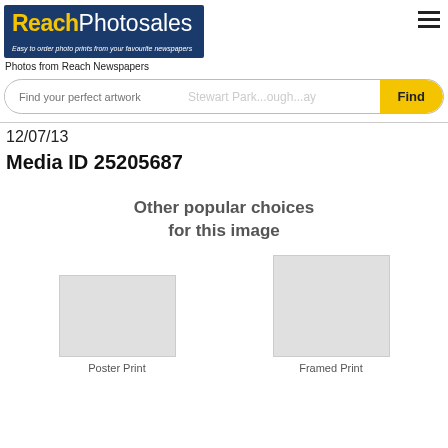[Figure (logo): ReachPhotosales logo with dark blue background, yellow 'Reach' and white 'Photosales' text, italic tagline 'Easy to order photo prints from your favourite newspapers']
Photos from Reach Newspapers
Find your perfect artwork
Stewart Park...ough...ay
Find
12/07/13
Media ID 25205687
Other popular choices for this image
Poster Print
Framed Print